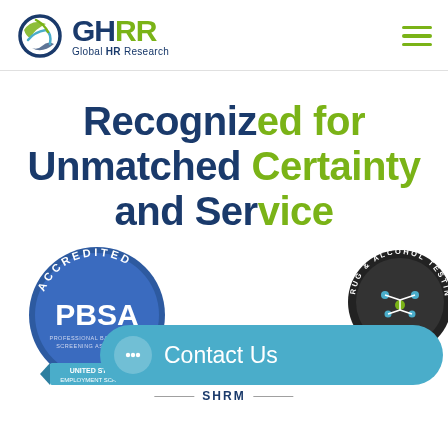[Figure (logo): GHRR Global HR Research logo — circular globe icon in blue and green on the left, with 'GHRR' in large dark blue bold text and 'Global HR Research' in smaller text below]
[Figure (logo): Hamburger menu icon — three horizontal green lines]
Recognized for Unmatched Certainty and Service
[Figure (logo): PBSA Accredited – United States Employment Screening badge, circular blue seal]
[Figure (logo): Drug & Alcohol Testing industry badge, circular dark seal with molecule graphic]
[Figure (other): Contact Us button — rounded teal rectangle with chat bubble icon and 'Contact Us' text in white]
SHRM